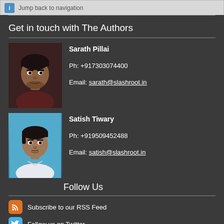Jump back to navigation
Get in touch with The Authors
[Figure (photo): Portrait photo of Sarath Pillai]
Sarath Pillai
Ph: +917303074400
Email: sarath@slashroot.in
[Figure (photo): Portrait photo of Satish Tiwary]
Satish Tiwary
Ph: +919509452488
Email: satish@slashroot.in
Follow Us
Subscribe to our RSS Feed
Follow us on Twitter